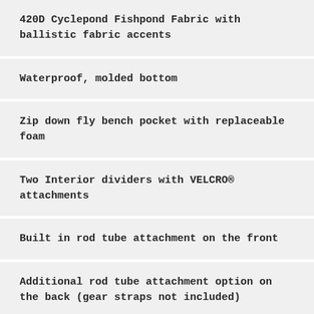420D Cyclepond Fishpond Fabric with ballistic fabric accents
Waterproof, molded bottom
Zip down fly bench pocket with replaceable foam
Two Interior dividers with VELCRO® attachments
Built in rod tube attachment on the front
Additional rod tube attachment option on the back (gear straps not included)
Rope haul handle